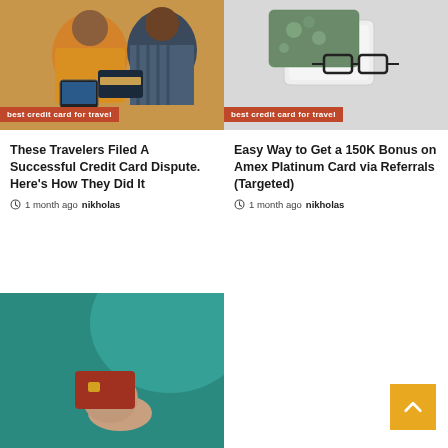[Figure (photo): Two people (woman in yellow sweater and man in striped shirt) looking at a credit card and tablet, with 'best credit card for travel' badge overlay]
[Figure (photo): Credit card, white wallet/card holder, and glasses on light background, with 'best credit card for travel' badge overlay]
These Travelers Filed A Successful Credit Card Dispute. Here's How They Did It
1 month ago  nikholas
Easy Way to Get a 150K Bonus on Amex Platinum Card via Referrals (Targeted)
1 month ago  nikholas
[Figure (photo): Hand holding a teal/gold credit card against a teal background]